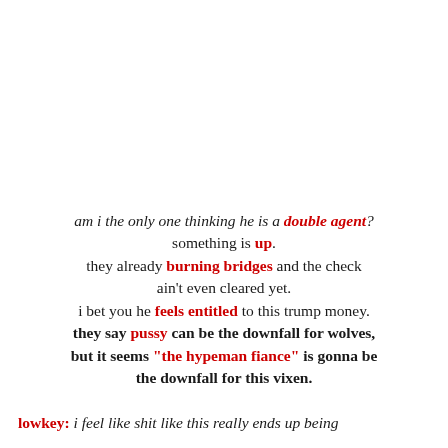am i the only one thinking he is a double agent? something is up. they already burning bridges and the check ain't even cleared yet. i bet you he feels entitled to this trump money. they say pussy can be the downfall for wolves, but it seems "the hypeman fiance" is gonna be the downfall for this vixen.
lowkey: i feel like shit like this really ends up being